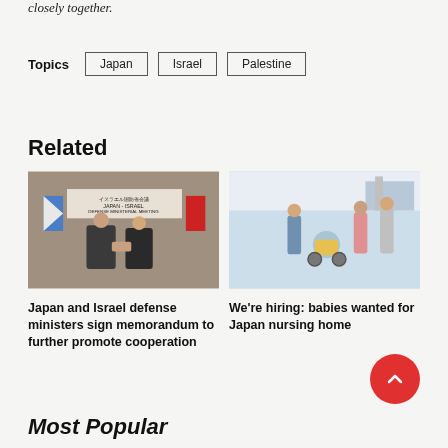closely together.
Topics
Japan
Israel
Palestine
Related
[Figure (photo): Two men in suits shaking hands at a Japan-Israel Defense Ministerial Meeting with flags of Israel and Japan in the background.]
Japan and Israel defense ministers sign memorandum to further promote cooperation
[Figure (photo): Healthcare workers attending to elderly patients in wheelchairs in a hospital or nursing home setting.]
We're hiring: babies wanted for Japan nursing home
Most Popular